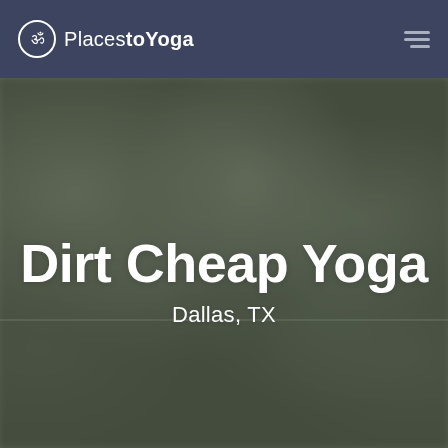ॐ PlacestoYoga
[Figure (photo): Blurred outdoor garden/patio background with bokeh lighting effect, overlaid with hero title text 'Dirt Cheap Yoga' and subtitle 'Dallas, TX']
Dirt Cheap Yoga
Dallas, TX